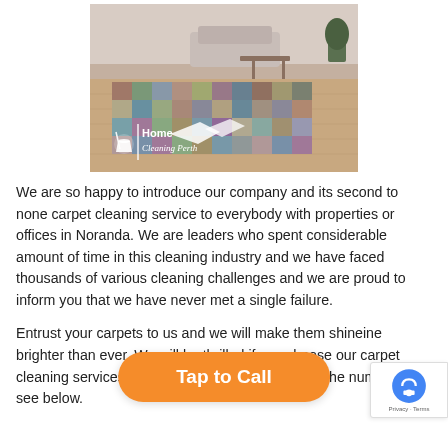[Figure (photo): Interior room photo showing a colorful patchwork carpet on a wooden floor with furniture in the background, overlaid with 'Home Cleaning Perth' logo]
We are so happy to introduce our company and its second to none carpet cleaning service to everybody with properties or offices in Noranda. We are leaders who spent considerable amount of time in this cleaning industry and we have faced thousands of various cleaning challenges and we are proud to inform you that we have never met a single failure.
Entrust your carpets to us and we will make them shine brighter than ever. We will be thrilled if you choose our carpet cleaning services. To book an appointment, just dial the number you see below.